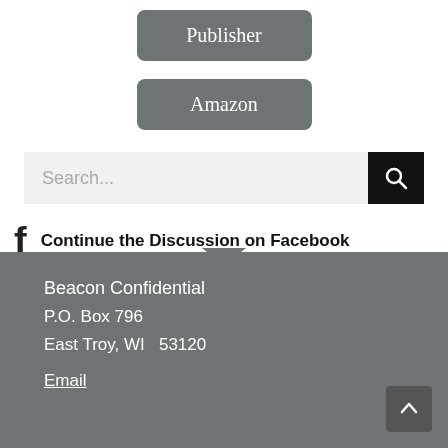[Figure (other): Gray rounded button labeled Publisher]
[Figure (other): Gray rounded button labeled Amazon]
[Figure (other): Search bar with text input and black search button with magnifying glass icon]
Continue the Discussion on Facebook
Beacon Confidential
P.O. Box 796
East Troy, WI  53120
Email